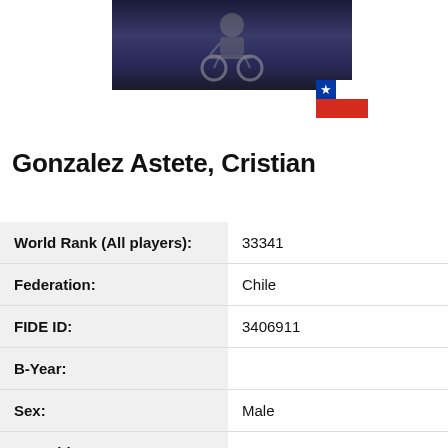[Figure (photo): Photo of a chess player in a wheelchair, dark blue background]
[Figure (illustration): Flag of Chile — red, white, blue with white star]
Gonzalez Astete, Cristian
| World Rank (All players): | 33341 |
| Federation: | Chile |
| FIDE ID: | 3406911 |
| B-Year: |  |
| Sex: | Male |
| FIDE title: | None |